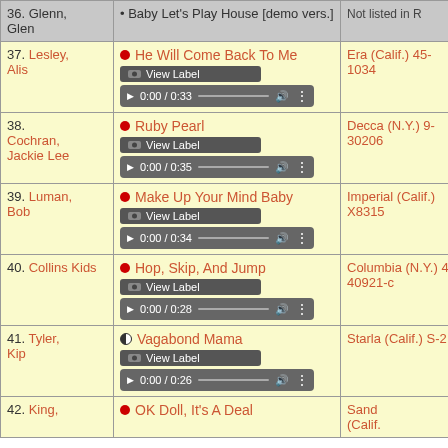| #. Artist | Song | Label | Extra |
| --- | --- | --- | --- |
| 36. Glenn, Glen | • Baby Let's Play House [demo vers.] | Not listed in R |  |
| 37. Lesley, Alis | • He Will Come Back To Me [View Label] ▶ 0:00 / 0:33 | Era (Calif.) 45-1034 | 1 2 B r |
| 38. Cochran, Jackie Lee | • Ruby Pearl [View Label] ▶ 0:00 / 0:35 | Decca (N.Y.) 9-30206 | 1 9 B r |
| 39. Luman, Bob | • Make Up Your Mind Baby [View Label] ▶ 0:00 / 0:34 | Imperial (Calif.) X8315 | 1 2 B r |
| 40. Collins Kids | • Hop, Skip, And Jump [View Label] ▶ 0:00 / 0:28 | Columbia (N.Y.) 4-40921-c | 1 1 B r |
| 41. Tyler, Kip | ◑ Vagabond Mama [View Label] ▶ 0:00 / 0:26 | Starla (Calif.) S-2 | 1 2 (e |
| 42. King, ... | • OK Doll, It's A Deal | Sand (Calif.) | 1 |